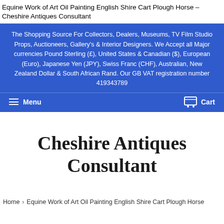Equine Work of Art Oil Painting English Shire Cart Plough Horse – Cheshire Antiques Consultant
The Shopping Source For Collectors, Dealers, Museums, TV Film Studio Props, Auctioneers, Gallery's & Interior Designers. We Accept all Major currencies Pound Sterling (£), United States & Canadian ($), European (Euro), Japanese Yen (JPY), Swiss Franc (CHF), Australian, New Zealand Dollar & South African Rand. Our GB VAT registration number 419343789
Menu  Cart
Cheshire Antiques Consultant
Home › Equine Work of Art Oil Painting English Shire Cart Plough Horse